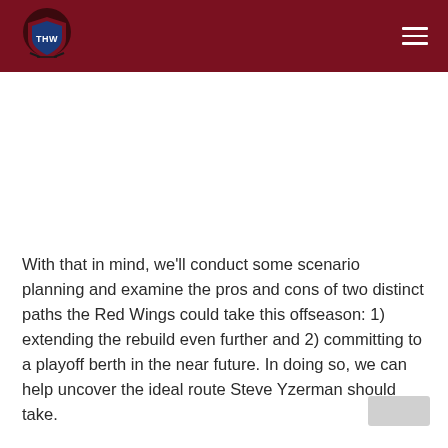THW
With that in mind, we'll conduct some scenario planning and examine the pros and cons of two distinct paths the Red Wings could take this offseason: 1) extending the rebuild even further and 2) committing to a playoff berth in the near future. In doing so, we can help uncover the ideal route Steve Yzerman should take.